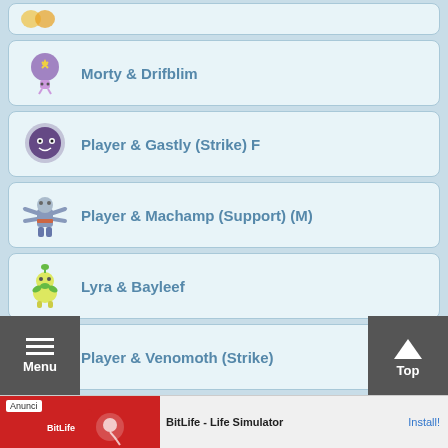Morty & Drifblim
Player & Gastly (Strike) F
Player & Machamp (Support) (M)
Lyra & Bayleef
Player & Venomoth (Strike)
Agatha & Gengar
Burgh & Leavanny
[Figure (screenshot): Ad banner: BitLife - Life Simulator game advertisement with Install button]